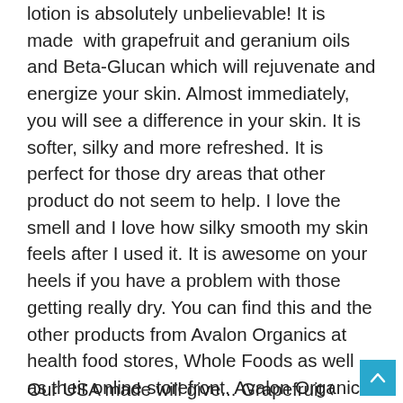lotion is absolutely unbelievable! It is made with grapefruit and geranium oils and Beta-Glucan which will rejuvenate and energize your skin. Almost immediately, you will see a difference in your skin. It is softer, silky and more refreshed. It is perfect for those dry areas that other product do not seem to help. I love the smell and I love how silky smooth my skin feels after I used it. It is awesome on your heels if you have a problem with those getting really dry. You can find this and the other products from Avalon Organics at health food stores, Whole Foods as well as their online storefront. Avalon Organics is committed to creating products made with organic ingredients who has a passion for home-grown sustainability. They are dedicated using all natural products and to help us honor our bodies and our planet. Their products are all pure, safe and come from sources like botanicals, extracts and essential oils.
Our USA made will give... Grapefruit Calmont Seed f...